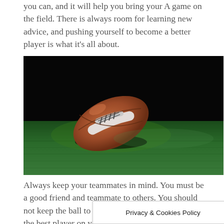you can, and it will help you bring your A game on the field. There is always room for learning new advice, and pushing yourself to become a better player is what it's all about.
[Figure (photo): A brown American football resting on green grass turf against a dark/black background, lit dramatically from the side.]
Always keep your teammates in mind. You must be a good friend and teammate to others. You should not keep the ball to yourself and assume you are the best player on your team. imes; focus on beating the
Privacy & Cookies Policy